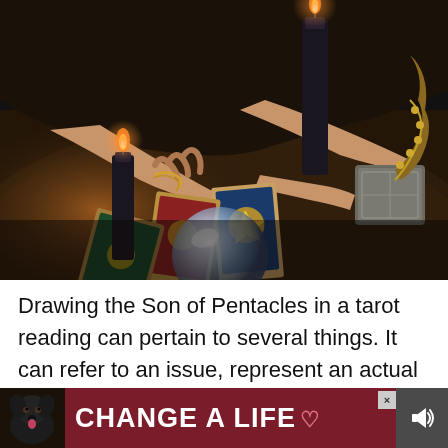[Figure (photo): A person's hands arranging tarot cards on a dark round table. Two black candles are lit, a crystal ball sits in the foreground, and decorative metallic objects are visible on the right side of the table. The scene is dimly lit with warm candlelight.]
Drawing the Son of Pentacles in a tarot reading can pertain to several things. It can refer to an issue, represent an actual person, or
[Figure (other): Advertisement banner with a dark red/maroon background showing a black Labrador dog on the left, bold white text reading 'CHANGE A LIFE' with a pink heart icon, a close (X) button, and a mute/sound icon on the right.]